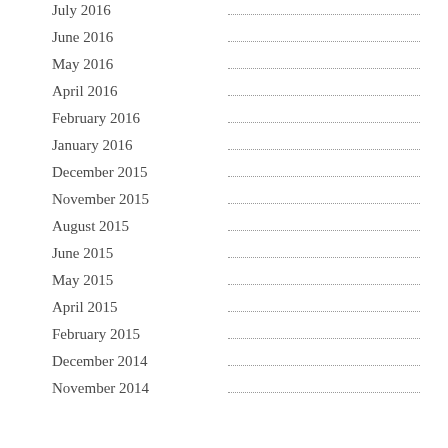July 2016
June 2016
May 2016
April 2016
February 2016
January 2016
December 2015
November 2015
August 2015
June 2015
May 2015
April 2015
February 2015
December 2014
November 2014